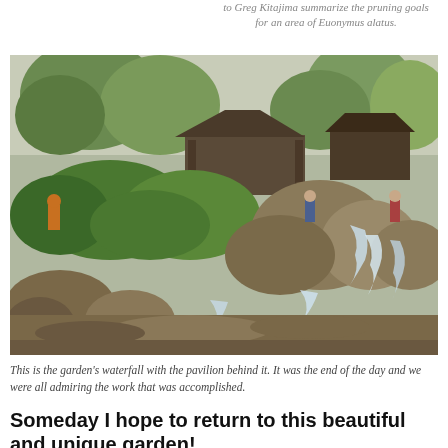to Greg Kitajima summarize the pruning goals for an area of Euonymus alatus.
[Figure (photo): A garden waterfall scene with large rocks, lush green vegetation, a wooden pavilion/gazebo in the background, and people standing around admiring the garden. Water cascades over rocks in the foreground.]
This is the garden's waterfall with the pavilion behind it. It was the end of the day and we were all admiring the work that was accomplished.
Someday I hope to return to this beautiful and unique garden!